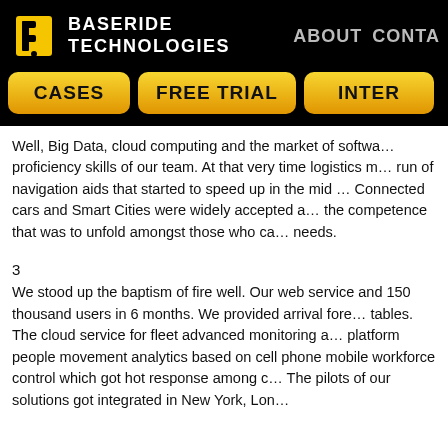BASERIDE TECHNOLOGIES | ABOUT | CONTA
[Figure (logo): Baseride Technologies logo with yellow B icon and white text on black background]
Well, Big Data, cloud computing and the market of software proficiency skills of our team. At that very time logistics m… run of navigation aids that started to speed up in the mid … Connected cars and Smart Cities were widely accepted a… the competence that was to unfold amongst those who ca… needs.
3
We stood up the baptism of fire well. Our web service and 150 thousand users in 6 months. We provided arrival fore… tables. The cloud service for fleet advanced monitoring a… platform people movement analytics based on cell phone mobile workforce control which got hot response among c… The pilots of our solutions got integrated in New York, Lon…